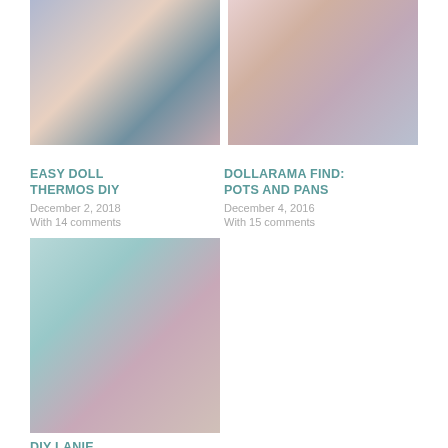[Figure (photo): DIY doll thermos materials including notebooks, fabric pieces on a counter]
EASY DOLL THERMOS DIY
December 2, 2018
With 14 comments
[Figure (photo): Child in red dress playing with miniature pots and pans on a table]
DOLLARAMA FIND: POTS AND PANS
December 4, 2016
With 15 comments
[Figure (photo): DIY pop up camper made from a box with teal/mint color and fabric interior]
DIY LANIE HOLLAND'S POP UP CAMPER - PART TWO
February 12, 2017
With 19 comments